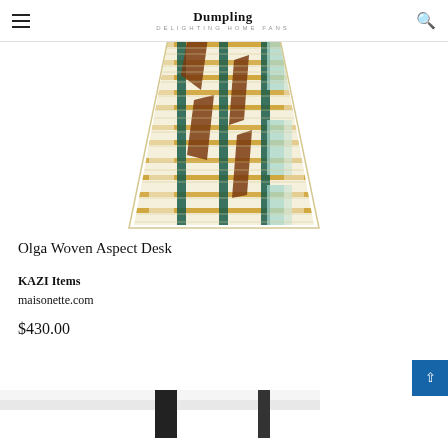Dumpling DELIGHTING HOME FANS
[Figure (photo): Woven basket lampshade with colorful geometric pattern in cream, brown, teal/dark green, gold, and mint colors — conical shape viewed from slightly above]
Olga Woven Aspect Desk
KAZI Items
maisonette.com
$430.00
[Figure (photo): Partial view of white bedding/furniture with two black vertical elements, cut off at bottom of page]